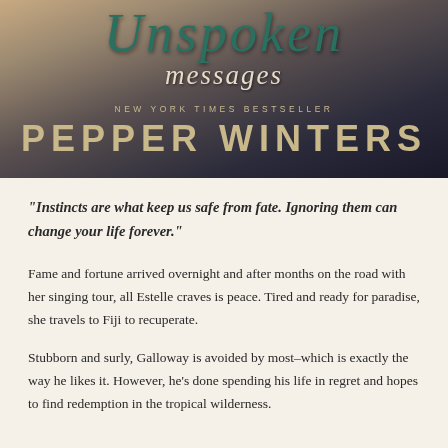[Figure (illustration): Book cover of 'Unspoken Messages' by Pepper Winter, New York Times Bestseller. Dark gradient background with teal script title text and gold author name.]
"Instincts are what keep us safe from fate. Ignoring them can change your life forever."
Fame and fortune arrived overnight and after months on the road with her singing tour, all Estelle craves is peace. Tired and ready for paradise, she travels to Fiji to recuperate.
Stubborn and surly, Galloway is avoided by most–which is exactly the way he likes it. However, he's done spending his life in regret and hopes to find redemption in the tropical wilderness.